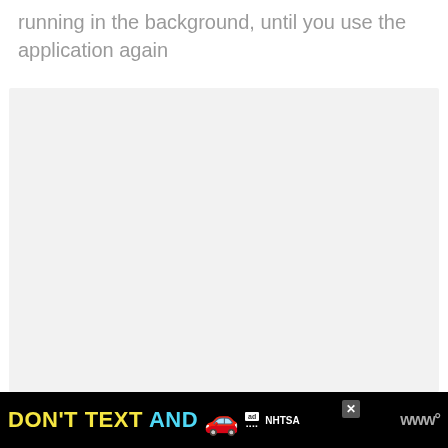running in the background, until you use the application again
[Figure (other): Light gray empty content area placeholder]
[Figure (other): Advertisement banner: DON'T TEXT AND [car emoji] ad NHTSA logo, with close button and W logo]